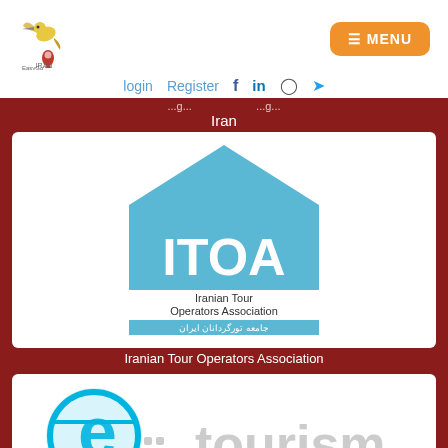[Figure (logo): EasyGo Iran hummingbird logo with location pin icon and text 'EasyGo IRAN']
[Figure (logo): Orange rounded rectangle button with hamburger menu icon and text MENU]
login   Register   f   in   (instagram)   (twitter)
Iran
[Figure (logo): ITOA - Iranian Tour Operators Association logo with blue house/pentagon shape and text in Farsi]
Iranian Tour Operators Association
[Figure (logo): e_tourism Iranian E-Tourism Association logo with blue 'e' globe icon and text in English and Farsi]
Iranian E-Tourism Association